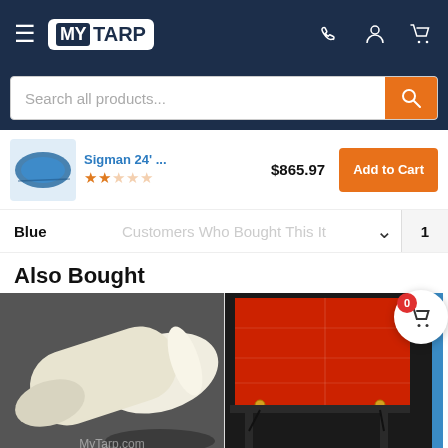[Figure (screenshot): MyTarp website navigation header with logo, hamburger menu, phone icon, account icon, and cart icon on dark navy background]
[Figure (screenshot): Search bar with placeholder text 'Search all products...' and orange search button]
Sigman 24' ... $865.97
[Figure (other): Star rating (empty stars, orange) for product]
[Figure (screenshot): Add to Cart orange button]
Blue
Customers Who Bought This It
1
Also Bought
[Figure (photo): Rolled white/cream tarp or sheeting material photographed on dark background with MyTarp.com watermark]
[Figure (photo): Red tarp attached to black metal frame/stand with grommets and tie-downs visible]